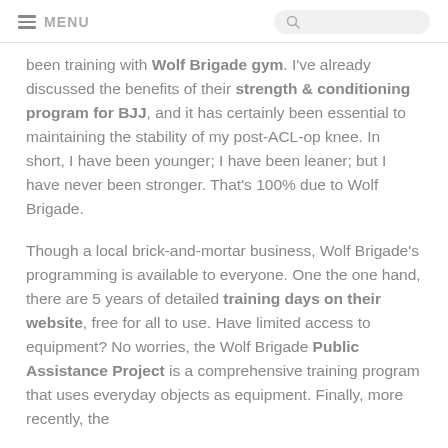MENU
been training with Wolf Brigade gym. I've already discussed the benefits of their strength & conditioning program for BJJ, and it has certainly been essential to maintaining the stability of my post-ACL-op knee. In short, I have been younger; I have been leaner; but I have never been stronger. That's 100% due to Wolf Brigade.
Though a local brick-and-mortar business, Wolf Brigade's programming is available to everyone. One the one hand, there are 5 years of detailed training days on their website, free for all to use. Have limited access to equipment? No worries, the Wolf Brigade Public Assistance Project is a comprehensive training program that uses everyday objects as equipment. Finally, more recently, the